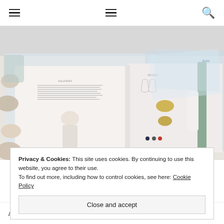Navigation bar with hamburger menus and search icon
[Figure (photo): Open sewing pattern book on a white table surrounded by seashells, with sewing pattern tissue papers visible. The book shows dress pattern instructions with a woman wearing a light-colored lace dress, pattern diagrams, and fabric swatches.]
Privacy & Cookies: This site uses cookies. By continuing to use this website, you agree to their use. To find out more, including how to control cookies, see here: Cookie Policy
Close and accept
At the launch party, I got to on the dresses. This was also